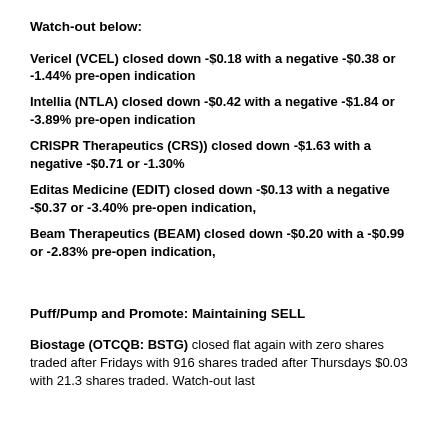Watch-out below:
Vericel (VCEL) closed down -$0.18 with a negative -$0.38 or -1.44% pre-open indication
Intellia (NTLA) closed down -$0.42 with a negative -$1.84 or -3.89% pre-open indication
CRISPR Therapeutics (CRS)) closed down -$1.63 with a negative -$0.71 or -1.30%
Editas Medicine (EDIT) closed down -$0.13 with a negative -$0.37 or -3.40% pre-open indication,
Beam Therapeutics (BEAM) closed down -$0.20 with a -$0.99 or -2.83% pre-open indication,
Puff/Pump and Promote: Maintaining SELL
Biostage (OTCQB: BSTG) closed flat again with zero shares traded after Fridays with 916 shares traded after Thursdays $0.03 with 21.3 shares traded. Watch-out last